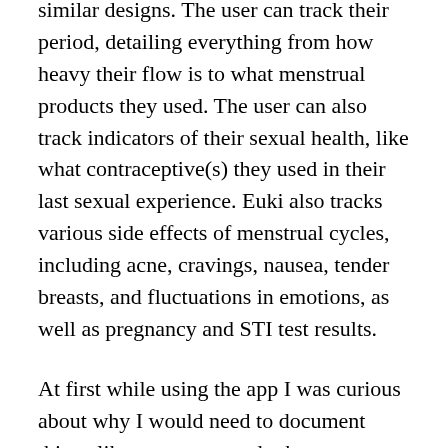similar designs. The user can track their period, detailing everything from how heavy their flow is to what menstrual products they used. The user can also track indicators of their sexual health, like what contraceptive(s) they used in their last sexual experience. Euki also tracks various side effects of menstrual cycles, including acne, cravings, nausea, tender breasts, and fluctuations in emotions, as well as pregnancy and STI test results.
At first while using the app I was curious about why I would need to document things like nausea or tender breasts besides personal documentation. After doing some research on the app, I realized that in the case the user were to